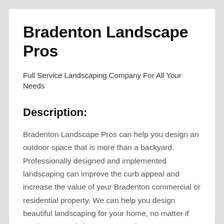Bradenton Landscape Pros
Full Service Landscaping Company For All Your Needs
Description:
Bradenton Landscape Pros can help you design an outdoor space that is more than a backyard. Professionally designed and implemented landscaping can improve the curb appeal and increase the value of your Bradenton commercial or residential property. We can help you design beautiful landscaping for your home, no matter if you have an existing or new garden. Contact us immediately if you need a complete landscaping solution.